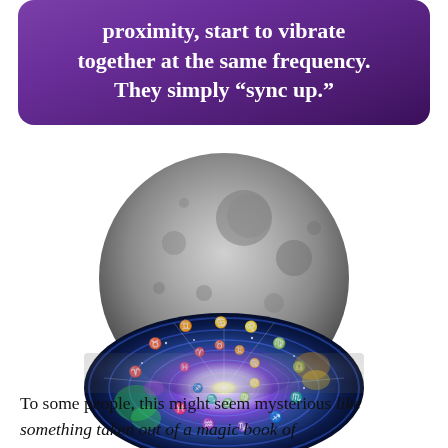proximity, start to vibrate together at the same frequency. They simply “sync up.”
[Figure (illustration): A composite image of a moon (grayscale lunar surface) in the upper half, merging into a colorful zodiac/astrology wheel with star signs and bright light emanating from the center, on a deep blue cosmic background.]
To some people, this might seem mysterious like something taken out of a magic book of